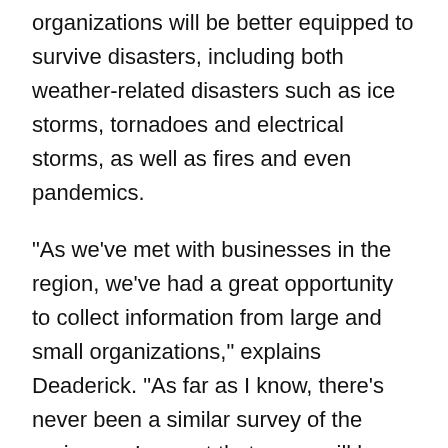organizations will be better equipped to survive disasters, including both weather-related disasters such as ice storms, tornadoes and electrical storms, as well as fires and even pandemics.
"As we've met with businesses in the region, we've had a great opportunity to collect information from large and small organizations," explains Deaderick. "As far as I know, there's never been a similar survey of the region, so I expect that some will be very surprised to learn just how under-prepared organizations in the region are."